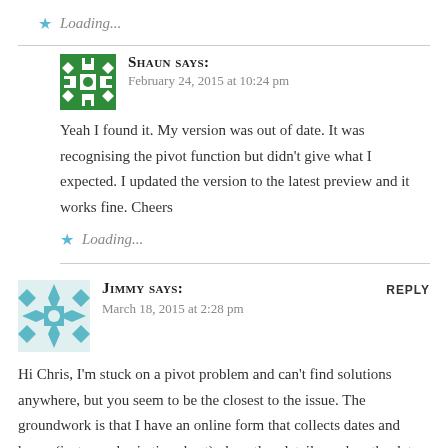Loading...
SHAUN says:
February 24, 2015 at 10:24 pm
Yeah I found it. My version was out of date. It was recognising the pivot function but didn't give what I expected. I updated the version to the latest preview and it works fine. Cheers
Loading...
JIMMY says:
March 18, 2015 at 2:28 pm
REPLY
Hi Chris, I'm stuck on a pivot problem and can't find solutions anywhere, but you seem to be the closest to the issue. The groundwork is that I have an online form that collects dates and hours (just your basic timesheet) plus other details…when the data connection pulls the form results into PQ, I end up with columns like this: NAME, DATE, HOURS, DATE2, HOURS2, DATE3, HOURS3, etc where date corresponds with the hours that have the